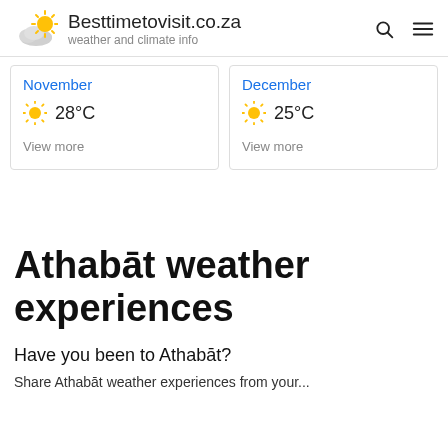Besttimetovisit.co.za — weather and climate info
November — 28°C — View more
December — 25°C — View more
Athabāt weather experiences
Have you been to Athabāt?
Share Athabāt weather experiences from your...